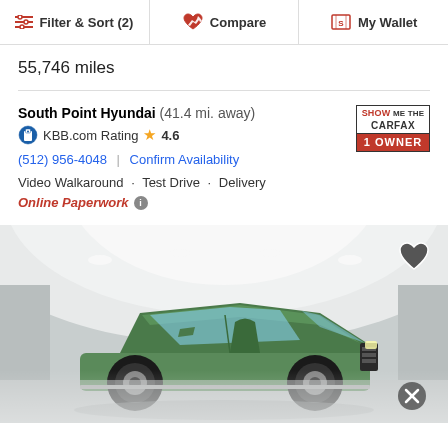Filter & Sort (2) | Compare | My Wallet
55,746 miles
South Point Hyundai (41.4 mi. away)
KBB.com Rating ★ 4.6
(512) 956-4048 | Confirm Availability
Video Walkaround · Test Drive · Delivery
Online Paperwork ℹ
[Figure (photo): Green classic muscle car photographed in an indoor studio/showroom with a light grey curved backdrop ceiling and recessed lights. A heart/favorite icon is visible in the top right corner of the image and a close (X) button at the bottom right.]